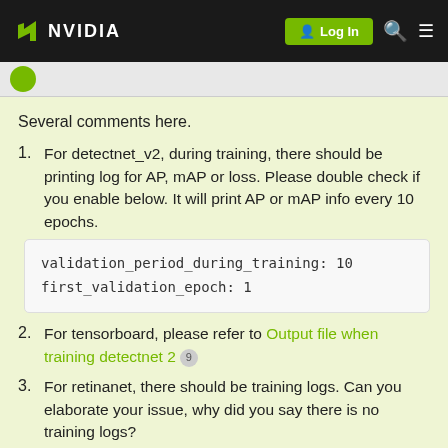[Figure (screenshot): NVIDIA developer forum navigation bar with logo, Log In button, search icon, and menu icon]
Several comments here.
1. For detectnet_v2, during training, there should be printing log for AP, mAP or loss. Please double check if you enable below. It will print AP or mAP info every 10 epochs.
2. For tensorboard, please refer to Output file when training detectnet 2 [9]
3. For retinanet, there should be training logs. Can you elaborate your issue, why did you say there is no training logs?